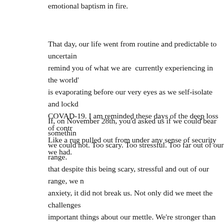emotional baptism in fire.
That day, our life went from routine and predictable to uncertain… remind you of what we are  currently experiencing in the world… is evaporating before our very eyes as we self-isolate and lockd… COVAD-19. I am reminded these days of the deep loss of contr… Like a rug pulled out from under any sense of security we had.
If, on November 28th, you'd asked us if we could bear somethin… we could not. Too scary. Too stressful. Too far out of our range. … that despite this being scary, stressful and out of our range, we … anxiety, it did not break us. Not only did we meet the challenges… important things about our mettle. We're stronger than we thou… and we have deeper wells of resourcefulness than we ever coul… perspective to whom only those who've gone through such a tri… self-confidence; that we now know more about what we can p… withstand. An unexpected silver lining, to be sure. A gift from li… set of circumstances would play into the game we'd unknowing…